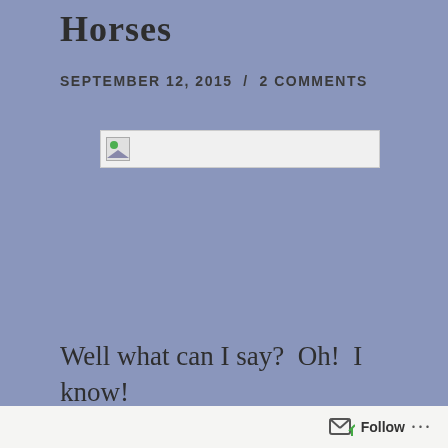Horses
SEPTEMBER 12, 2015  /  2 COMMENTS
[Figure (photo): A broken/missing image placeholder showing a small image icon with a green circle and mountain shape on a light grey background with a thin border.]
Well what can I say?  Oh!  I know!  The world is her stage – not all the world, but her world
Follow